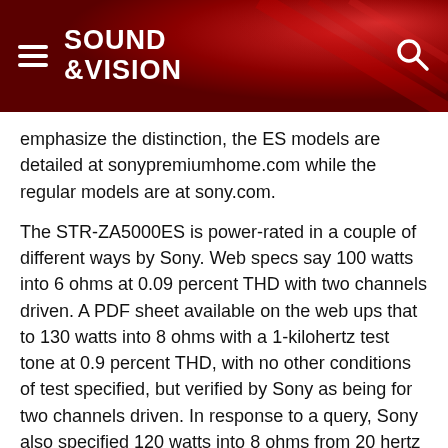SOUND &VISION
emphasize the distinction, the ES models are detailed at sonypremiumhome.com while the regular models are at sony.com.
The STR-ZA5000ES is power-rated in a couple of different ways by Sony. Web specs say 100 watts into 6 ohms at 0.09 percent THD with two channels driven. A PDF sheet available on the web ups that to 130 watts into 8 ohms with a 1-kilohertz test tone at 0.9 percent THD, with no other conditions of test specified, but verified by Sony as being for two channels driven. In response to a query, Sony also specified 120 watts into 8 ohms from 20 hertz to 20 kHz with two channels driven and 0.09 percent THD (... it less fast). On the Test Bench for